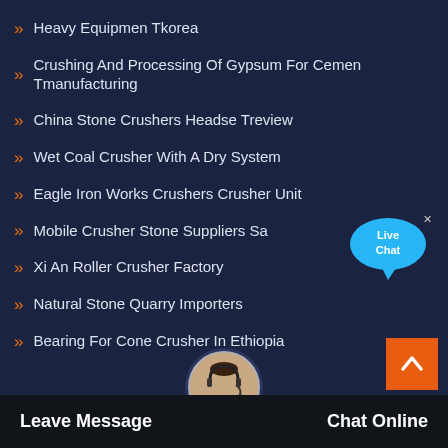Heavy Equipmen Tkorea
Crushing And Processing Of Gypsum For Cemen Tmanufacturing
China Stone Crushers Headse Treview
Wet Coal Crusher With A Dry System
Eagle Iron Works Crushers Crusher Unit
Mobile Crusher Stone Suppliers Sa
Xi An Roller Crusher Factory
Natural Stone Quarry Importers
Bearing For Cone Crusher In Ethiopia
[Figure (illustration): Live Chat speech bubble icon in blue with 'Live Chat' text and close button]
[Figure (illustration): Orange scroll-to-top button with upward chevron arrow]
[Figure (photo): Customer service representative avatar with headset]
Leave Message    Chat Online